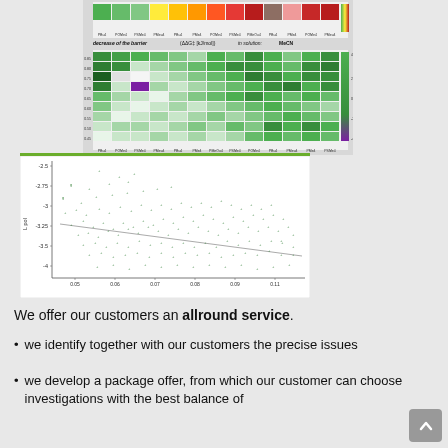[Figure (continuous-plot): Two heatmap grids showing decrease of the barrier (ΔΔG‡ [kJ/mol]) in solution: MeCN. Top heatmap uses a green-yellow-orange-red color scale. Bottom heatmap uses a green-to-purple scale. Both have multiple row and column labels for molecular descriptors.]
[Figure (continuous-plot): Scatter plot with a diagonal trend line showing a cloud of green data points with a slight negative slope. Y-axis labeled 'L pol' ranging approximately from -4.5 to -2.6. X-axis ranges from approximately 0.05 to 0.11. Dense cluster of points visible in the center-left region.]
We offer our customers an allround service.
we identify together with our customers the precise issues
we develop a package offer, from which our customer can choose investigations with the best balance of